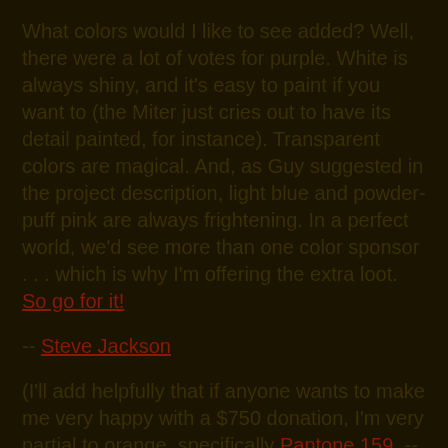What colors would I like to see added? Well, there were a lot of votes for purple. White is always shiny, and it's easy to paint if you want to (the Miter just cries out to have its detail painted, for instance). Transparent colors are magical. And, as Guy suggested in the project description, light blue and powder-puff pink are always frightening. In a perfect world, we'd see more than one color sponsor . . . which is why I'm offering the extra loot. So go for it!
-- Steve Jackson
(I'll add helpfully that if anyone wants to make me very happy with a $750 donation, I'm very partial to orange, specifically Pantone 159. --Andrew)
(Why did I not think of that? Oh, yeah, it's because I went to Rice. Now some good Aggie out there is going to